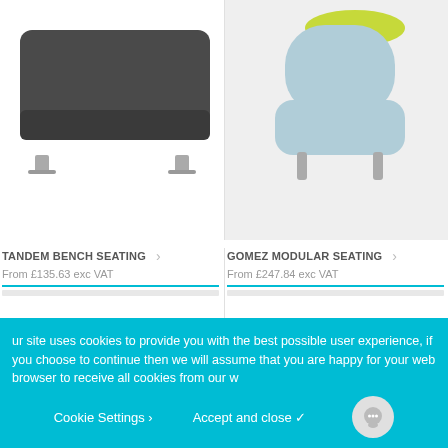[Figure (photo): Dark grey Tandem bench seating product photo on white background, shown from slight angle with metal legs]
[Figure (photo): Light blue Gomez modular seating chair product photo on light grey background with green accent, metal legs]
TANDEM BENCH SEATING
From £135.63 exc VAT
GOMEZ MODULAR SEATING
From £247.84 exc VAT
[Figure (photo): Partial view of purple/violet modular seating, bottom portion only visible]
[Figure (photo): Partial view of dark taupe/brown modular seating shapes, bottom portion only visible]
ur site uses cookies to provide you with the best possible user experience, if you choose to continue then we will assume that you are happy for your web browser to receive all cookies from our w
Cookie Settings ❯
Accept and close ✓